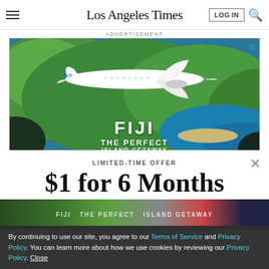Los Angeles Times
ADVERTISEMENT
[Figure (photo): Fiji Airways airplane flying over green tropical island coastline with ocean visible, with text overlay: FIJI THE PERFECT ISLAND GETAWAY]
LIMITED-TIME OFFER
$1 for 6 Months
SUBSCRIBE NOW
By continuing to use our site, you agree to our Terms of Service and Privacy Policy. You can learn more about how we use cookies by reviewing our Privacy Policy. Close